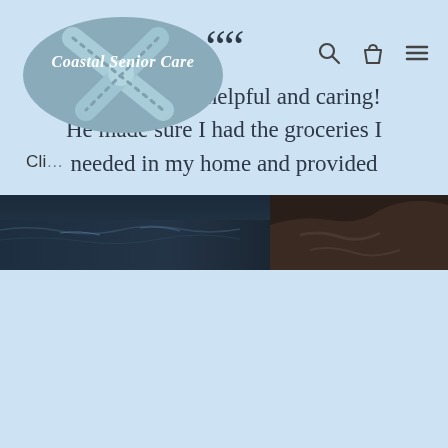[Figure (logo): Coastal Senior Care logo: oval with teal/blue-grey background, two starfish crossing, white italic text 'Coastal Senior Care']
[Figure (other): Navigation icons: search magnifying glass, shopping bag, and hamburger menu]
Cli...
[Figure (photo): Narrow horizontal strip photograph showing dark coastal scene with water and rocky shoreline]
““
Dewey was so helpful and caring! He made sure I had the groceries I needed in my home and provided